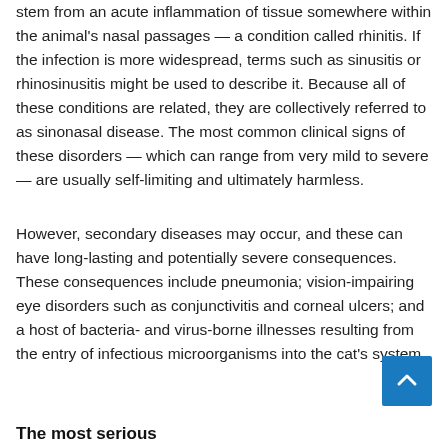stem from an acute inflammation of tissue somewhere within the animal's nasal passages — a condition called rhinitis. If the infection is more widespread, terms such as sinusitis or rhinosinusitis might be used to describe it. Because all of these conditions are related, they are collectively referred to as sinonasal disease. The most common clinical signs of these disorders — which can range from very mild to severe — are usually self-limiting and ultimately harmless.
However, secondary diseases may occur, and these can have long-lasting and potentially severe consequences. These consequences include pneumonia; vision-impairing eye disorders such as conjunctivitis and corneal ulcers; and a host of bacteria- and virus-borne illnesses resulting from the entry of infectious microorganisms into the cat's system.
The most serious